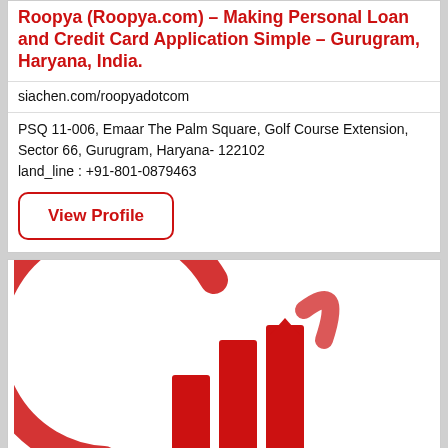Roopya (Roopya.com) – Making Personal Loan and Credit Card Application Simple – Gurugram, Haryana, India.
siachen.com/roopyadotcom
PSQ 11-006, Emaar The Palm Square, Golf Course Extension, Sector 66, Gurugram, Haryana- 122102
land_line : +91-801-0879463
View Profile
[Figure (logo): Roopya company logo: red circular swoosh arc with red bar chart/buildings graphic inside on white background]